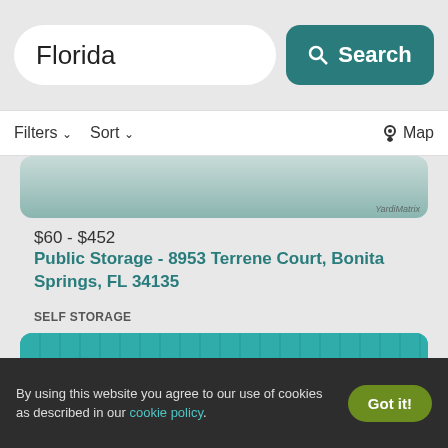Florida
Search
Filters  Sort  Map
[Figure (photo): Partial aerial or storefront photo of Public Storage location with YardiMatrix watermark]
$60 - $452
Public Storage - 8953 Terrene Court, Bonita Springs, FL 34135
SELF STORAGE
[Figure (photo): Exterior photo of Extra Space Storage building with teal facade and large white signage reading Extra Space Storage]
By using this website you agree to our use of cookies as described in our cookie policy.
Got it!